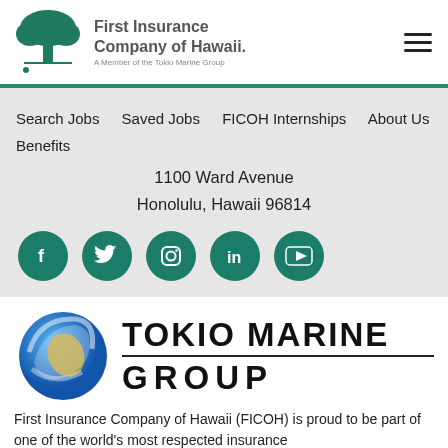[Figure (logo): First Insurance Company of Hawaii logo with tree icon and 'A Member of the Tokio Marine Group' tagline]
[Figure (logo): Hamburger menu icon (three horizontal bars)]
Search Jobs
Saved Jobs
FICOH Internships
About Us
Benefits
1100 Ward Avenue
Honolulu, Hawaii 96814
[Figure (infographic): Social media icons: Facebook, Twitter, Instagram, LinkedIn, YouTube — all in teal circles]
[Figure (logo): Tokio Marine Group logo with blue globe sphere and gold accent]
First Insurance Company of Hawaii (FICOH) is proud to be part of one of the world's most respected insurance